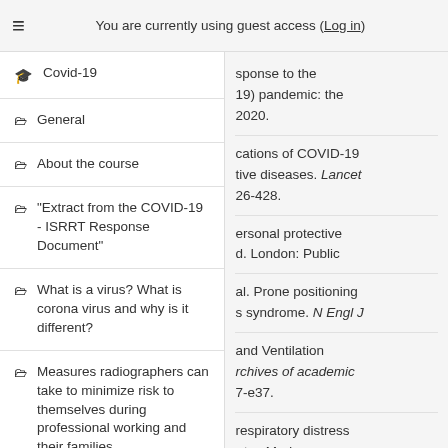You are currently using guest access (Log in)
Covid-19
General
About the course
"Extract from the COVID-19 - ISRRT Response Document"
What is a virus? What is corona virus and why is it different?
Measures radiographers can take to minimize risk to themselves during professional working and their families
sponse to the 19) pandemic: the 2020. cations of COVID-19 tive diseases. Lancet 26-428. ersonal protective d. London: Public al. Prone positioning s syndrome. N Engl J and Ventilation rchives of academic 7-e37. respiratory distress ates Med.